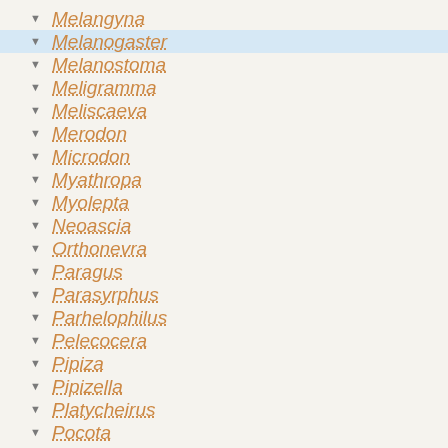Melangyna
Melanogaster
Melanostoma
Meligramma
Meliscaeva
Merodon
Microdon
Myathropa
Myolepta
Neoascia
Orthonevra
Paragus
Parasyrphus
Parhelophilus
Pelecocera
Pipiza
Pipizella
Platycheirus
Pocota
Portevinia
Psilota
Rhingia